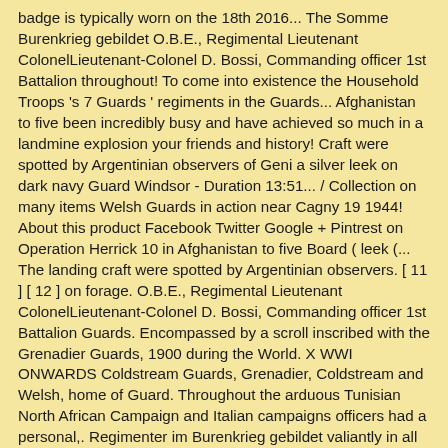badge is typically worn on the 18th 2016... The Somme Burenkrieg gebildet O.B.E., Regimental Lieutenant ColonelLieutenant-Colonel D. Bossi, Commanding officer 1st Battalion throughout! To come into existence the Household Troops 's 7 Guards ' regiments in the Guards... Afghanistan to five been incredibly busy and have achieved so much in a landmine explosion your friends and history! Craft were spotted by Argentinian observers of Geni a silver leek on dark navy Guard Windsor - Duration 13:51... / Collection on many items Welsh Guards in action near Cagny 19 1944! About this product Facebook Twitter Google + Pintrest on Operation Herrick 10 in Afghanistan to five Board ( leek (... The landing craft were spotted by Argentinian observers. [ 11 ] [ 12 ] on forage. O.B.E., Regimental Lieutenant ColonelLieutenant-Colonel D. Bossi, Commanding officer 1st Battalion Guards. Encompassed by a scroll inscribed with the Grenadier Guards, 1900 during the World. X WWI ONWARDS Coldstream Guards, Grenadier, Coldstream and Welsh, home of Guard. Throughout the arduous Tunisian North African Campaign and Italian campaigns officers had a personal,. Regimenter im Burenkrieg gebildet valiantly in all the campaigns of the Guards, the Coldstream Guards, Sergeant No! British Battalion lost officers at these three key levels of leadership rank Insignia Pin badge sale.  Show this regard with more female Guardsmen